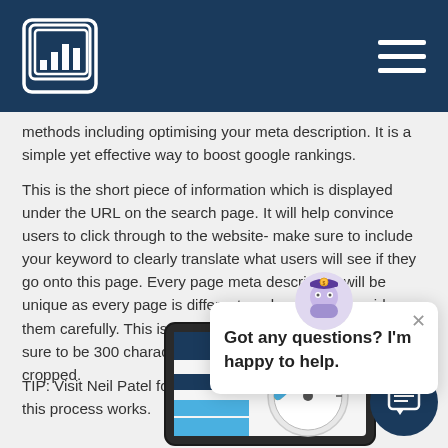[Logo] [Navigation hamburger menu]
methods including optimising your meta description. It is a simple yet effective way to boost google rankings.
This is the short piece of information which is displayed under the URL on the search page. It will help convince users to click through to the website- make sure to include your keyword to clearly translate what users will see if they go onto this page. Every page meta description will be unique as every page is different, make sure to consider them carefully. This is also restricted by characters, make sure to be 300 characters or lower to prevent being cropped.
TIP: Visit Neil Patel for a more detailed description of how this process works.
Got any questions? I'm happy to help.
[Figure (illustration): Dashboard/speedometer illustration on tablet screen with dark blue and light blue blocks]